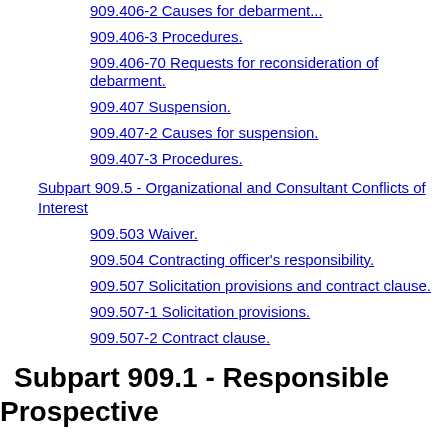909.406-2 Causes for debarment.
909.406-3 Procedures.
909.406-70 Requests for reconsideration of debarment.
909.407 Suspension.
909.407-2 Causes for suspension.
909.407-3 Procedures.
Subpart 909.5 - Organizational and Consultant Conflicts of Interest
909.503 Waiver.
909.504 Contracting officer's responsibility.
909.507 Solicitation provisions and contract clause.
909.507-1 Solicitation provisions.
909.507-2 Contract clause.
Subpart 909.1 - Responsible Prospective